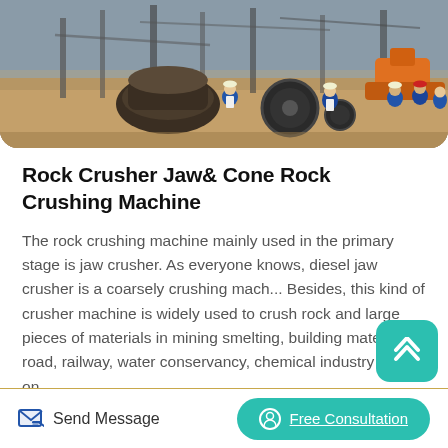[Figure (photo): Construction/mining site with workers in blue uniforms and hardhats operating heavy machinery including jaw/cone crushers and large equipment on a dirt ground.]
Rock Crusher Jaw& Cone Rock Crushing Machine
The rock crushing machine mainly used in the primary stage is jaw crusher. As everyone knows, diesel jaw crusher is a coarsely crushing mach... Besides, this kind of crusher machine is widely used to crush rock and large pieces of materials in mining smelting, building material, road, railway, water conservancy, chemical industry and so on.
Read More
Send Message   Free Consultation